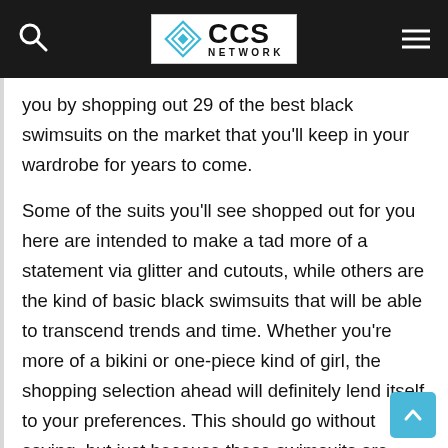CCS NETWORK
you by shopping out 29 of the best black swimsuits on the market that you'll keep in your wardrobe for years to come.
Some of the suits you'll see shopped out for you here are intended to make a tad more of a statement via glitter and cutouts, while others are the kind of basic black swimsuits that will be able to transcend trends and time. Whether you're more of a bikini or one-piece kind of girl, the shopping selection ahead will definitely lend itself to your preferences. This should go without saying, but just because these swimsuits are simple in nature does not mean they aren't stylish. In fact, most of these are so classic that there's no way you could not look like a